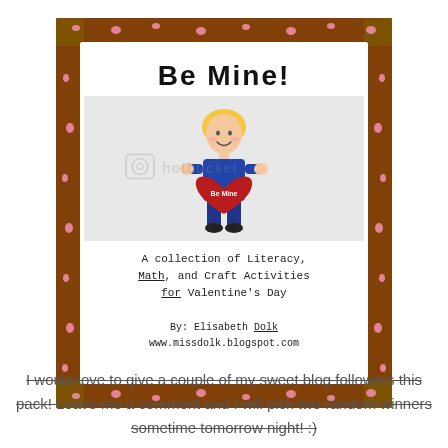[Figure (illustration): Book cover for 'Be Mine!' — a Valentine's Day educational activity pack by Elizabeth Dolk. Features a cartoon boy holding a large red heart labeled 'Be Mine', surrounded by a decorative red border with pink hearts pattern. Subtitle reads 'A collection of Literacy, Math, and Craft Activities for Valentine's Day'. Author: By: Elizabeth Dolk, www.missdolk.blogspot.com. Contains a photobucket watermark overlay.]
I would love to give a couple of my sweet blog followers this pack! Leave me a comment and I will pick two random winners sometime tomorrow night! :)